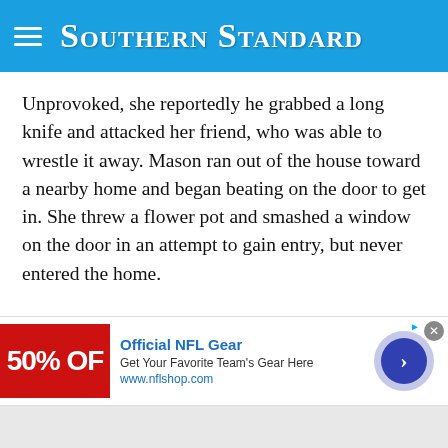Southern Standard
Unprovoked, she reportedly he grabbed a long knife and attacked her friend, who was able to wrestle it away. Mason ran out of the house toward a nearby home and began beating on the door to get in. She threw a flower pot and smashed a window on the door in an attempt to gain entry, but never entered the home.
Mason then went to the home of an elderly couple and was able to gain entry through their utility room. Once inside, she went into the bathroom where she armed herself with a curling iron before going into the bedroom and striking the
[Figure (screenshot): Advertisement banner: Official NFL Gear — Get Your Favorite Team's Gear Here, www.nflshop.com, with 50% OFF red image and blue arrow button]